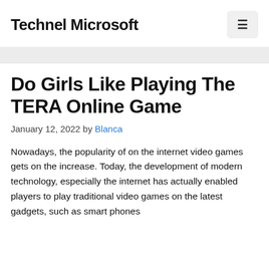Technel Microsoft
Do Girls Like Playing The TERA Online Game
January 12, 2022 by Blanca
Nowadays, the popularity of on the internet video games gets on the increase. Today, the development of modern technology, especially the internet has actually enabled players to play traditional video games on the latest gadgets, such as smart phones